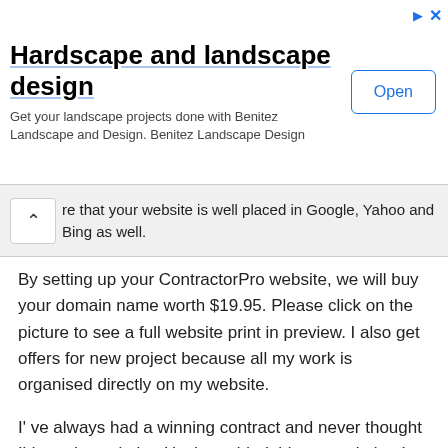[Figure (screenshot): Advertisement banner for Benitez Landscape and Design with title 'Hardscape and landscape design', description text, and an Open button. Also shows close/info icons top right.]
re that your website is well placed in Google, Yahoo and Bing as well.
By setting up your ContractorPro website, we will buy your domain name worth $19.95. Please click on the picture to see a full website print in preview. I also get offers for new project because all my work is organised directly on my website.
I' ve always had a winning contract and never thought I'd need a website. Having added this pro website, I was able to offer more high value job opportunities and really boost my total income.